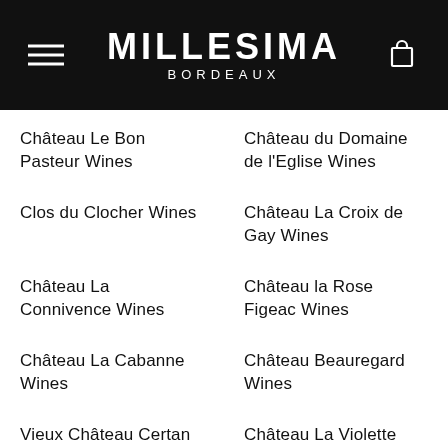MILLESIMA BORDEAUX
Château Le Bon Pasteur Wines
Château du Domaine de l'Eglise Wines
Clos du Clocher Wines
Château La Croix de Gay Wines
Château La Connivence Wines
Château la Rose Figeac Wines
Château La Cabanne Wines
Château Beauregard Wines
Vieux Château Certan Wines
Château La Violette Wines
Château Bellegrave (Pomerol) Wines
Château Moulinet Wines
Château Vieux Maillet Wines
Château Trotanoy Wines